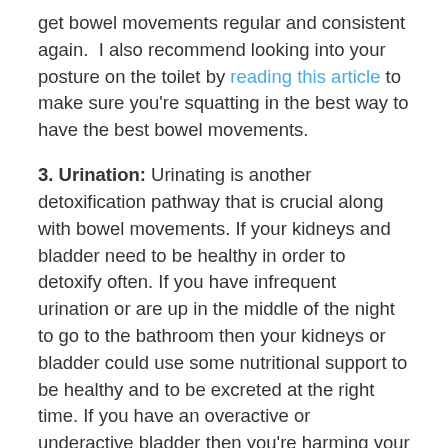get bowel movements regular and consistent again. I also recommend looking into your posture on the toilet by reading this article to make sure you're squatting in the best way to have the best bowel movements.
3. Urination: Urinating is another detoxification pathway that is crucial along with bowel movements. If your kidneys and bladder need to be healthy in order to detoxify often. If you have infrequent urination or are up in the middle of the night to go to the bathroom then your kidneys or bladder could use some nutritional support to be healthy and to be excreted at the right time. If you have an overactive or underactive bladder then you're harming your bodies natural ability to detoxify through urine. You don't want to and shouldn't be going to the bathroom every 5 minutes. Healthy visits to the toilet for urination range from 4-10 times per day, depending also upon how much fluid